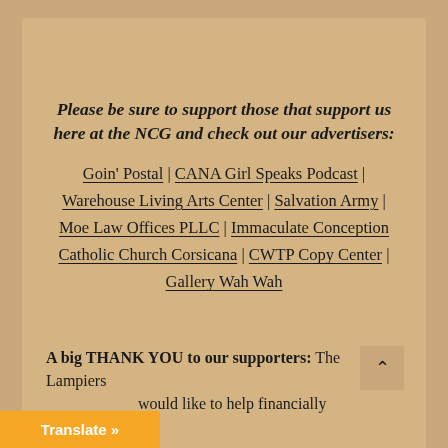Please be sure to support those that support us here at the NCG and check out our advertisers:
Goin' Postal | CANA Girl Speaks Podcast | Warehouse Living Arts Center | Salvation Army | Moe Law Offices PLLC | Immaculate Conception Catholic Church Corsicana | CWTP Copy Center | Gallery Wah Wah
A big THANK YOU to our supporters: The Lampiers would like to help financially